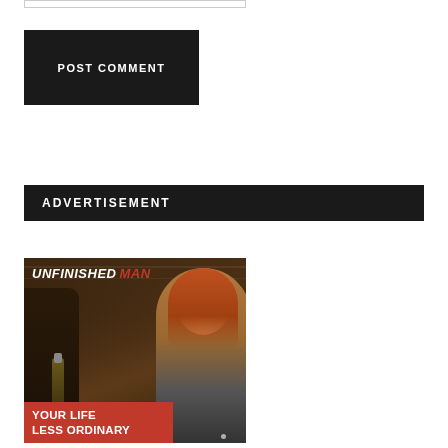[Figure (other): Text input box (form field, partially visible at top of page)]
POST COMMENT
ADVERTISEMENT
[Figure (photo): Advertisement image for 'Unfinished Man' website. Shows a smiling redheaded woman at a bar. Text overlay reads 'UNFINISHED MAN' at top (MAN in red italic) and a red banner at bottom reading 'YOUR LIFE LESS ORDINARY'.]